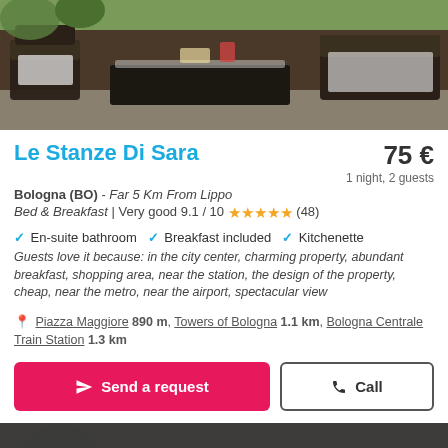[Figure (photo): Outdoor patio with dark wicker furniture including chairs and a glass-top coffee table on a stone patio, greenery in background]
Le Stanze Di Sara
75 € 1 night, 2 guests
Bologna (BO) - Far 5 Km From Lippo
Bed & Breakfast | Very good 9.1 / 10 ★★★★½ (48)
✓ En-suite bathroom  ✓ Breakfast included  ✓ Kitchenette
Guests love it because: in the city center, charming property, abundant breakfast, shopping area, near the station, the design of the property, cheap, near the metro, near the airport, spectacular view
📍 Piazza Maggiore 890 m, Towers of Bologna 1.1 km, Bologna Centrale Train Station 1.3 km
Send a request  Call
[Figure (photo): Partial view of another hotel listing photo below]
This site uses cookies. Find out more here. By continuing to browse the site you are agreeing to our use of cookies.